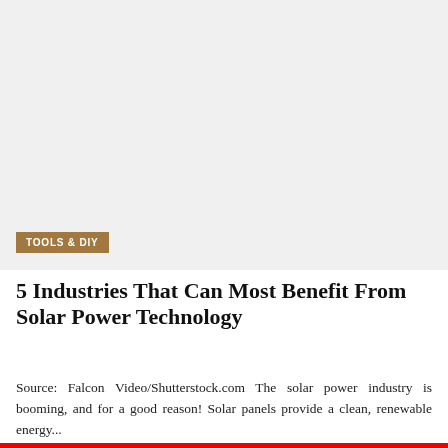[Figure (photo): Large image placeholder — light grey rectangular photo area at the top of the page, likely a solar panels or industry photo]
TOOLS & DIY
5 Industries That Can Most Benefit From Solar Power Technology
Source: Falcon Video/Shutterstock.com The solar power industry is booming, and for a good reason! Solar panels provide a clean, renewable energy...